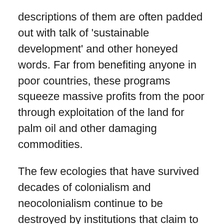descriptions of them are often padded out with talk of 'sustainable development' and other honeyed words. Far from benefiting anyone in poor countries, these programs squeeze massive profits from the poor through exploitation of the land for palm oil and other damaging commodities.
The few ecologies that have survived decades of colonialism and neocolonialism continue to be destroyed by institutions that claim to be 'helping' the poor. Populations in the countries affected become more dependent, less food secure and less healthy, communities and government, local and national, become less stable.
The current president of the World Bank, Dr Jim Yong Kim, used to be a 'global health leader', co-founder of Partners in Health, holding senior positions in some of the biggest